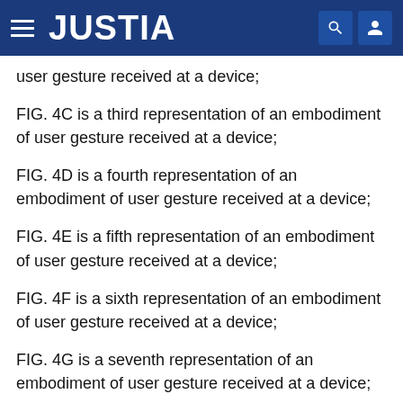JUSTIA
user gesture received at a device;
FIG. 4C is a third representation of an embodiment of user gesture received at a device;
FIG. 4D is a fourth representation of an embodiment of user gesture received at a device;
FIG. 4E is a fifth representation of an embodiment of user gesture received at a device;
FIG. 4F is a sixth representation of an embodiment of user gesture received at a device;
FIG. 4G is a seventh representation of an embodiment of user gesture received at a device;
FIG. 4H is a eighth representation of an embodiment of user gesture received at a device;